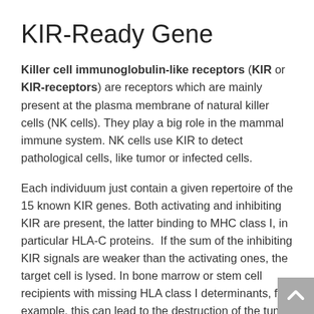KIR-Ready Gene
Killer cell immunoglobulin-like receptors (KIR or KIR-receptors) are receptors which are mainly present at the plasma membrane of natural killer cells (NK cells). They play a big role in the mammal immune system. NK cells use KIR to detect pathological cells, like tumor or infected cells.
Each individuum just contain a given repertoire of the 15 known KIR genes. Both activating and inhibiting KIR are present, the latter binding to MHC class I, in particular HLA-C proteins.  If the sum of the inhibiting KIR signals are weaker than the activating ones, the target cell is lysed. In bone marrow or stem cell recipients with missing HLA class I determinants, for example, this can lead to the destruction of the tumor cells by the donor's NK cells (GvL, graft versus leukemia